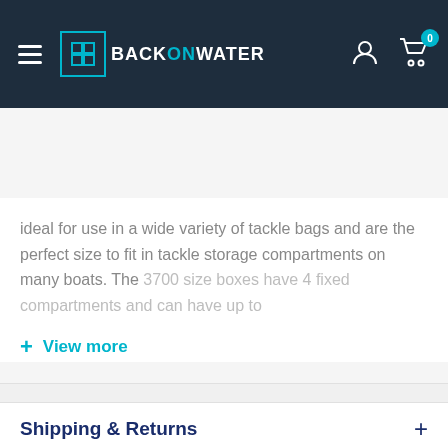[Figure (screenshot): BackOnWater website navigation bar with hamburger menu, logo, user account icon, and cart icon with badge showing 0]
[Figure (screenshot): Search bar with text input field showing 'Search...' placeholder and teal search button]
ideal for use in a wide variety of tackle bags and are the perfect size to fit in tackle storage compartments on many boats. The 3700 size boxes have 4 fixed compartments and can have up to
+ View more
Shipping & Returns